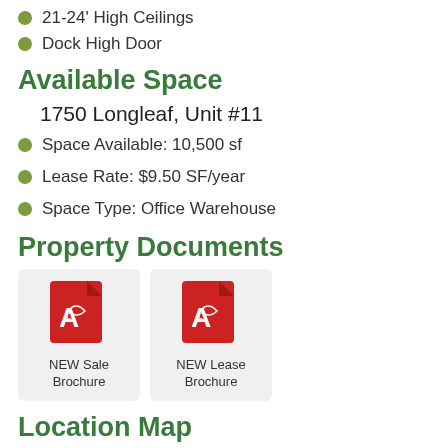21-24' High Ceilings
Dock High Door
Available Space
1750 Longleaf, Unit #11
Space Available: 10,500 sf
Lease Rate: $9.50 SF/year
Space Type: Office Warehouse
Property Documents
[Figure (other): PDF icon for NEW Sale Brochure document]
NEW Sale Brochure
[Figure (other): PDF icon for NEW Lease Brochure document]
NEW Lease Brochure
Location Map